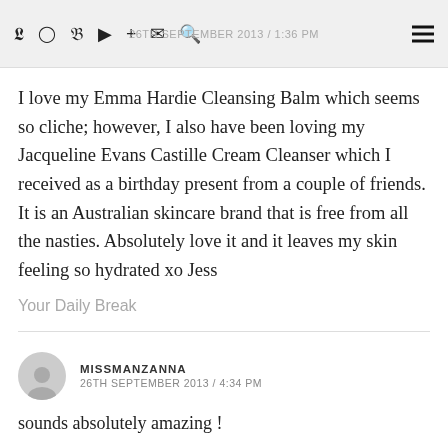26TH SEPTEMBER 2013 / 1:36 PM
I love my Emma Hardie Cleansing Balm which seems so cliche; however, I also have been loving my Jacqueline Evans Castille Cream Cleanser which I received as a birthday present from a couple of friends. It is an Australian skincare brand that is free from all the nasties. Absolutely love it and it leaves my skin feeling so hydrated xo Jess
Your Daily Break
MISSMANZANNA
26TH SEPTEMBER 2013 / 4:34 PM
sounds absolutely amazing !
MissManzanna.Blogspot